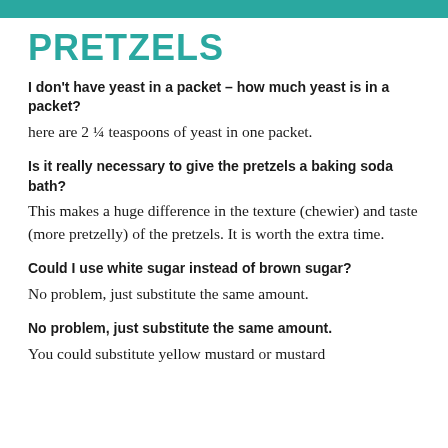PRETZELS
I don't have yeast in a packet – how much yeast is in a packet?
here are 2 ¼ teaspoons of yeast in one packet.
Is it really necessary to give the pretzels a baking soda bath?
This makes a huge difference in the texture (chewier) and taste (more pretzelly) of the pretzels. It is worth the extra time.
Could I use white sugar instead of brown sugar?
No problem, just substitute the same amount.
No problem, just substitute the same amount.
You could substitute yellow mustard or mustard